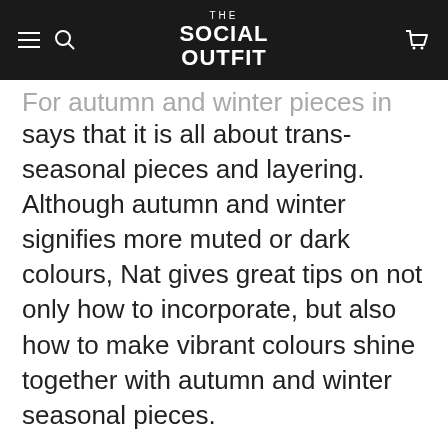THE SOCIAL OUTFIT
For autumn and winter pieces in general, Nat says that it is all about trans-seasonal pieces and layering. Although autumn and winter signifies more muted or dark colours, Nat gives great tips on not only how to incorporate, but also how to make vibrant colours shine together with autumn and winter seasonal pieces.
“One of the things I find really useful is to make sure I have staple pieces… that for layering – long sleeve tops, leggings, socks and tights base layers are perfect” Nat